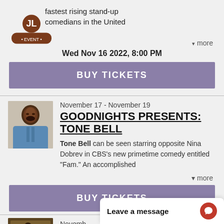fastest rising stand-up comedians in the United
▾ more
Wed Nov 16 2022, 8:00 PM
BUY TICKETS
November 17 - November 19
GOODNIGHTS PRESENTS: TONE BELL
Tone Bell can be seen starring opposite Nina Dobrev in CBS's new primetime comedy entitled "Fam." An accomplished
▾ more
BUY TICKETS
Novemb
Leave a message